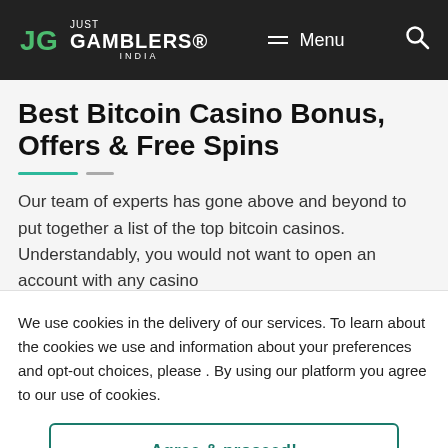JUST GAMBLERS INDIA — Menu — Search
Best Bitcoin Casino Bonus, Offers & Free Spins
Our team of experts has gone above and beyond to put together a list of the top bitcoin casinos. Understandably, you would not want to open an account with any casino
We use cookies in the delivery of our services. To learn about the cookies we use and information about your preferences and opt-out choices, please . By using our platform you agree to our use of cookies.
Agree & proceed!